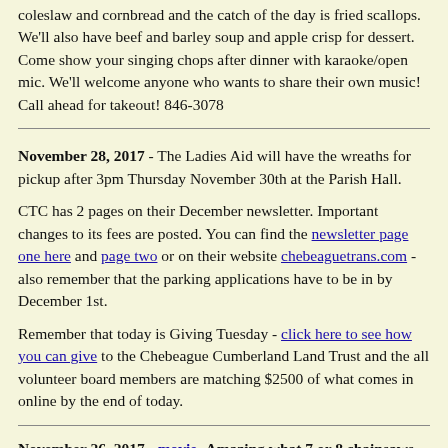coleslaw and cornbread and the catch of the day is fried scallops. We'll also have beef and barley soup and apple crisp for dessert. Come show your singing chops after dinner with karaoke/open mic. We'll welcome anyone who wants to share their own music! Call ahead for takeout! 846-3078
November 28, 2017 - The Ladies Aid will have the wreaths for pickup after 3pm Thursday November 30th at the Parish Hall.
CTC has 2 pages on their December newsletter. Important changes to its fees are posted. You can find the newsletter page one here and page two or on their website chebeaguetrans.com - also remember that the parking applications have to be in by December 1st.
Remember that today is Giving Tuesday - click here to see how you can give to the Chebeague Cumberland Land Trust and the all volunteer board members are matching $2500 of what comes in online by the end of today.
November 26, 2017 - movie- Amazing what 7 or 8 chainsaws and lots of volunteers can do in an hour. Click on the photo to see a youtube video I put together on November 26th of the clearing of the Deer Point Trail that is maintained by the